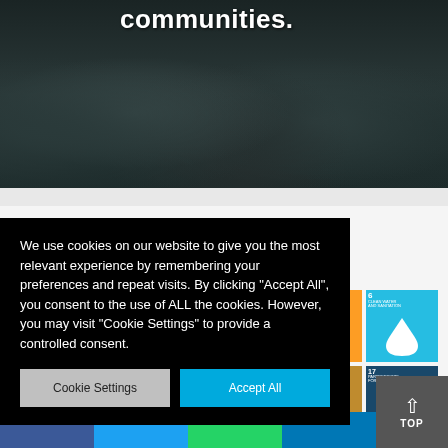[Figure (photo): Dark stacked logs/timber viewed from the end, with white bold text 'communities.' overlaid at top]
[Figure (infographic): Partial view of SDG (Sustainable Development Goals) section with large blue 'S', teal 'RLD' banner, and colorful SDG icon tiles (6 Clean Water, 11 Sustainable Communities, 12 Responsible Consumption, 17 Partnerships for the Goals, and SDG logo)]
We use cookies on our website to give you the most relevant experience by remembering your preferences and repeat visits. By clicking "Accept All", you consent to the use of ALL the cookies. However, you may visit "Cookie Settings" to provide a controlled consent.
Cookie Settings
Accept All